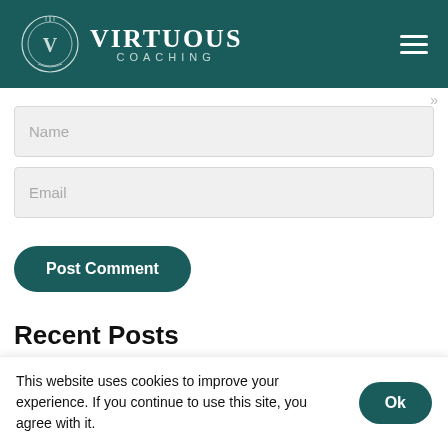[Figure (logo): Virtuous Coaching logo: teal header with emblem and text 'VIRTUOUS COACHING' on the left and hamburger menu icon on the right]
Name
Email
Post Comment
Recent Posts
How to find that thingy-majiggy with the ability to actually distinguish your business
Wellbeing: A much broader view of your life
This website uses cookies to improve your experience. If you continue to use this site, you agree with it.